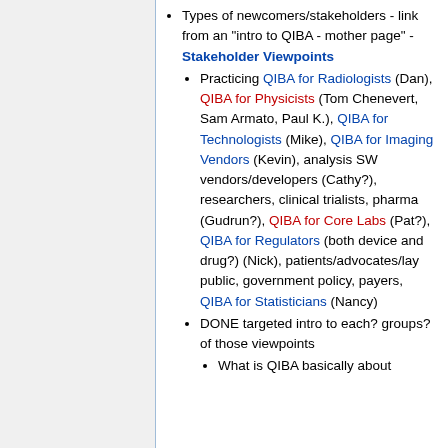Types of newcomers/stakeholders - link from an "intro to QIBA - mother page" - Stakeholder Viewpoints
Practicing QIBA for Radiologists (Dan), QIBA for Physicists (Tom Chenevert, Sam Armato, Paul K.), QIBA for Technologists (Mike), QIBA for Imaging Vendors (Kevin), analysis SW vendors/developers (Cathy?), researchers, clinical trialists, pharma (Gudrun?), QIBA for Core Labs (Pat?), QIBA for Regulators (both device and drug?) (Nick), patients/advocates/lay public, government policy, payers, QIBA for Statisticians (Nancy)
DONE targeted intro to each? groups? of those viewpoints
What is QIBA basically about